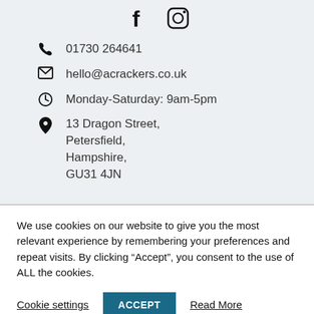[Figure (illustration): Social media icons: Facebook (f) and Instagram (camera) centered at top]
01730 264641
hello@acrackers.co.uk
Monday-Saturday: 9am-5pm
13 Dragon Street,
Petersfield,
Hampshire,
GU31 4JN
We use cookies on our website to give you the most relevant experience by remembering your preferences and repeat visits. By clicking “Accept”, you consent to the use of ALL the cookies.
Cookie settings  ACCEPT  Read More